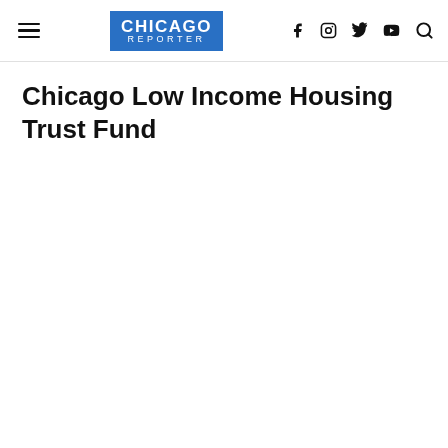CHICAGO REPORTER — navigation header with hamburger menu, logo, and social icons (Facebook, Instagram, Twitter, YouTube, Search)
Chicago Low Income Housing Trust Fund